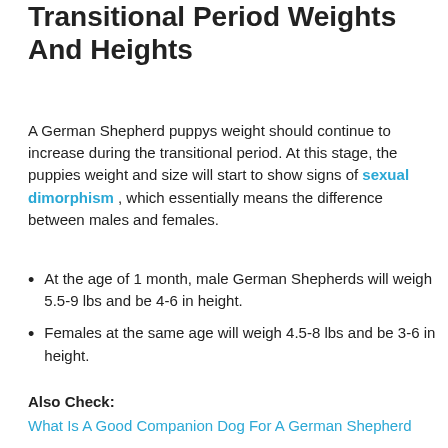Transitional Period Weights And Heights
A German Shepherd puppys weight should continue to increase during the transitional period. At this stage, the puppies weight and size will start to show signs of sexual dimorphism , which essentially means the difference between males and females.
At the age of 1 month, male German Shepherds will weigh 5.5-9 lbs and be 4-6 in height.
Females at the same age will weigh 4.5-8 lbs and be 3-6 in height.
Also Check:
What Is A Good Companion Dog For A German Shepherd